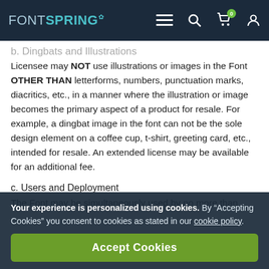FONTSPRING
b. Dingbats and Illustrations
Licensee may NOT use illustrations or images in the Font OTHER THAN letterforms, numbers, punctuation marks, diacritics, etc., in a manner where the illustration or image becomes the primary aspect of a product for resale. For example, a dingbat image in the font can not be the sole design element on a coffee cup, t-shirt, greeting card, etc., intended for resale. An extended license may be available for an additional fee.
c. Users and Deployment
The Font may be simultaneously used by no more than
Your experience is personalized using cookies. By “Accepting Cookies” you consent to cookies as stated in our cookie policy.
Accept Cookies